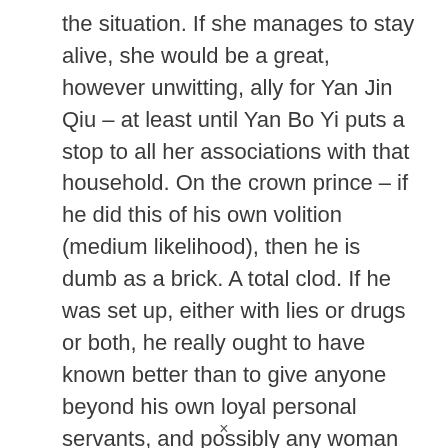the situation. If she manages to stay alive, she would be a great, however unwitting, ally for Yan Jin Qiu – at least until Yan Bo Yi puts a stop to all her associations with that household. On the crown prince – if he did this of his own volition (medium likelihood), then he is dumb as a brick. A total clod. If he was set up, either with lies or drugs or both, he really ought to have known better than to give anyone beyond his own loyal personal servants, and possibly any woman he is bedding
×